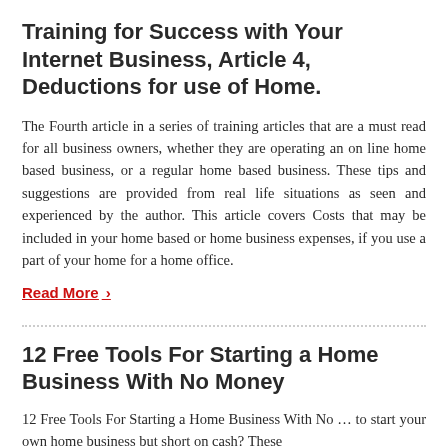Training for Success with Your Internet Business, Article 4, Deductions for use of Home.
The Fourth article in a series of training articles that are a must read for all business owners, whether they are operating an on line home based business, or a regular home based business. These tips and suggestions are provided from real life situations as seen and experienced by the author. This article covers Costs that may be included in your home based or home business expenses, if you use a part of your home for a home office.
Read More >
12 Free Tools For Starting a Home Business With No Money
12 Free Tools For Starting a Home Business With No ... to start your own home business but short on cash? These